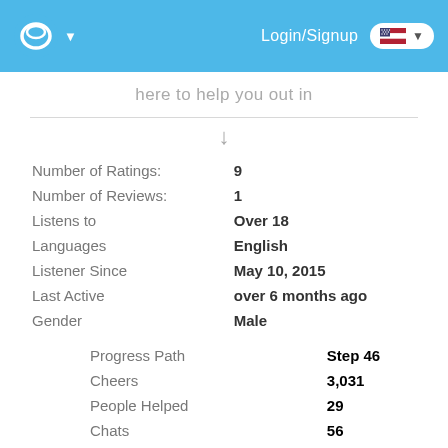Login/Signup
here to help you out in
| Field | Value |
| --- | --- |
| Number of Ratings: | 9 |
| Number of Reviews: | 1 |
| Listens to | Over 18 |
| Languages | English |
| Listener Since | May 10, 2015 |
| Last Active | over 6 months ago |
| Gender | Male |
| Field | Value |
| --- | --- |
| Progress Path | Step 46 |
| Cheers | 3,031 |
| People Helped | 29 |
| Chats | 56 |
| Group Support Chats | 0 |